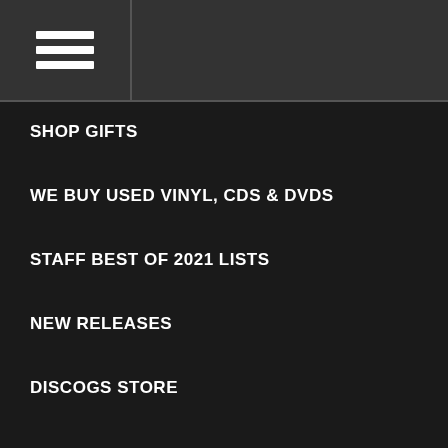[Figure (other): Hamburger menu icon (three white horizontal bars) in a dark grey header bar]
SHOP GIFTS
WE BUY USED VINYL, CDS & DVDS
STAFF BEST OF 2021 LISTS
NEW RELEASES
DISCOGS STORE
FEATURED GENRES
PRINCE
PREORDER UPCOMING RELEASES